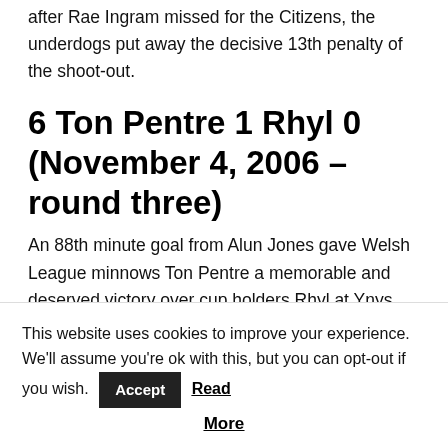after Rae Ingram missed for the Citizens, the underdogs put away the decisive 13th penalty of the shoot-out.
6 Ton Pentre 1 Rhyl 0 (November 4, 2006 – round three)
An 88th minute goal from Alun Jones gave Welsh League minnows Ton Pentre a memorable and deserved victory over cup holders Rhyl at Ynys Park. The Lilywhites were frustrated by an excellent performance from experienced home keeper Marty Ellacott.
This website uses cookies to improve your experience. We'll assume you're ok with this, but you can opt-out if you wish.  Accept  Read More